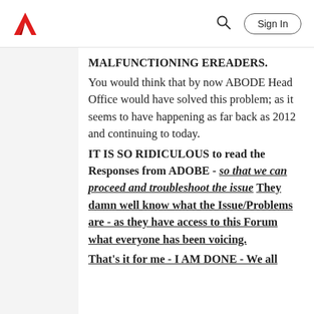Adobe | Sign In
MALFUNCTIONING EREADERS. You would think that by now ABODE Head Office would have solved this problem; as it seems to have happening as far back as 2012 and continuing to today. IT IS SO RIDICULOUS to read the Responses from ADOBE - so that we can proceed and troubleshoot the issue They damn well know what the Issue/Problems are - as they have access to this Forum what everyone has been voicing. That's it for me - I AM DONE - We all